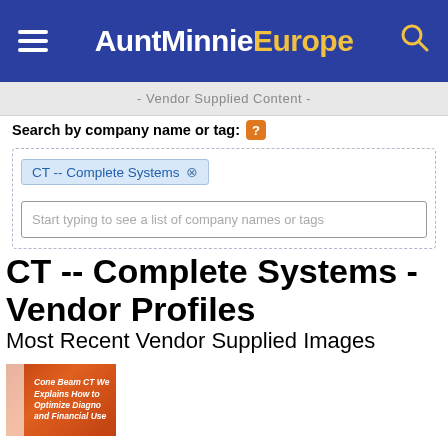AuntMinnieEurope
- Vendor Supplied Content -
Search by company name or tag:
CT -- Complete Systems ⊗
Start typing to see a list of company names or tags
CT -- Complete Systems - Vendor Profiles
Most Recent Vendor Supplied Images
[Figure (other): Thumbnail image with orange/red background and white side bar, text reads: Cone Beam CT We Explains How to Optimize Diagno and Financial Use]